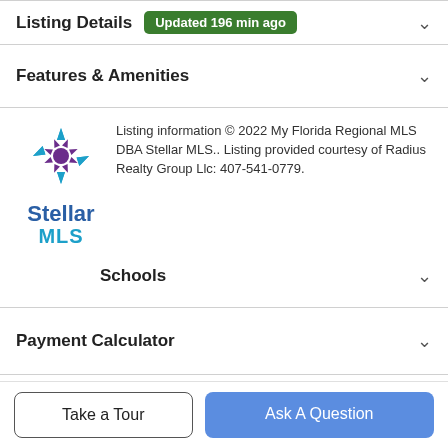Listing Details Updated 196 min ago
Features & Amenities
Listing information © 2022 My Florida Regional MLS DBA Stellar MLS.. Listing provided courtesy of Radius Realty Group Llc: 407-541-0779.
[Figure (logo): Stellar MLS logo with star and wordmark]
Schools
Payment Calculator
Contact Agent
[Figure (photo): Agent profile photo circle]
Take a Tour
Ask A Question